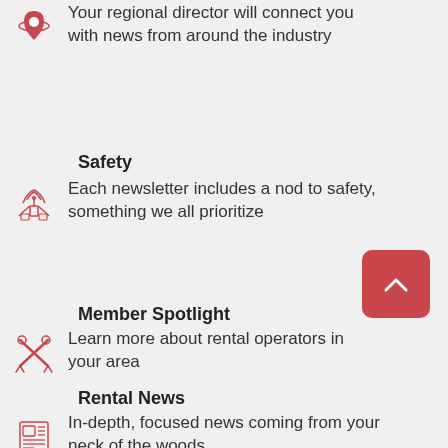Your regional director will connect you with news from around the industry
Safety
Each newsletter includes a nod to safety, something we all prioritize
Member Spotlight
Learn more about rental operators in your area
Rental News
In-depth, focused news coming from your neck of the woods